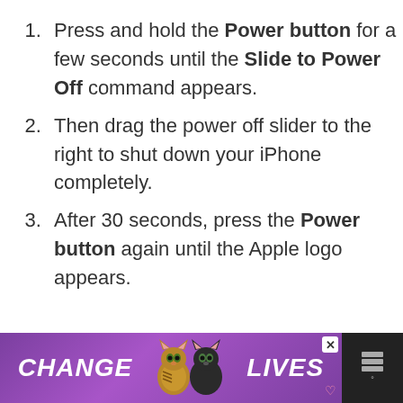Press and hold the Power button for a few seconds until the Slide to Power Off command appears.
Then drag the power off slider to the right to shut down your iPhone completely.
After 30 seconds, press the Power button again until the Apple logo appears.
[Figure (illustration): Advertisement banner with purple background showing two cats, text 'CHANGE LIVES', a close button, and a media player icon on the right.]